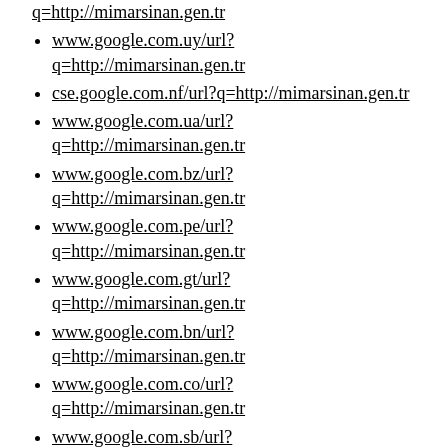q=http://mimarsinan.gen.tr
www.google.com.uy/url?q=http://mimarsinan.gen.tr
cse.google.com.nf/url?q=http://mimarsinan.gen.tr
www.google.com.ua/url?q=http://mimarsinan.gen.tr
www.google.com.bz/url?q=http://mimarsinan.gen.tr
www.google.com.pe/url?q=http://mimarsinan.gen.tr
www.google.com.gt/url?q=http://mimarsinan.gen.tr
www.google.com.bn/url?q=http://mimarsinan.gen.tr
www.google.com.co/url?q=http://mimarsinan.gen.tr
www.google.com.sb/url?q=http://mimarsinan.gen.tr
www.google.com.st/url?